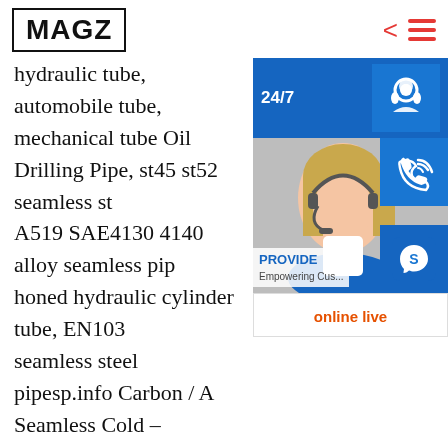MAGZ
hydraulic tube, automobile tube, mechanical tube Oil Drilling Pipe, st45 st52 seamless st... A519 SAE4130 4140 alloy seamless pip... honed hydraulic cylinder tube, EN103... seamless steel pipesp.info Carbon / A... Seamless Cold – Precision Steel Tube... Seamless Cold Drawn Steel Tube Oile... Treatment For Boiler; High Strength ... Seamless Cold Drawn Steel Tube 6 – 3... Diameter; Mechanical Cold Drawn Welded Tubes , Wear Resistant Seam Welded Tube; High Precision R...d Erw Carbon Steel Pipe , sp.info Suppliers of S...Pipes & Tubes in Kenya, Top Pipe FactoryProduction Details – Stainless Steel, Carbon
[Figure (infographic): Customer service widget with 24/7 label, woman with headset photo, phone icon, Skype icon, PROVIDE Empowering Customers text, and online live button]